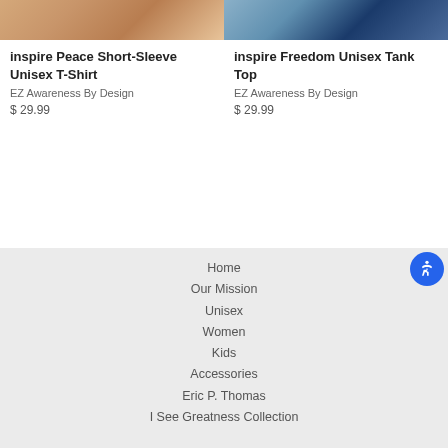[Figure (photo): Product photo of a person wearing a t-shirt (left product)]
[Figure (photo): Product photo of a person wearing a tank top (right product)]
inspire Peace Short-Sleeve Unisex T-Shirt
EZ Awareness By Design
$ 29.99
inspire Freedom Unisex Tank Top
EZ Awareness By Design
$ 29.99
Home
Our Mission
Unisex
Women
Kids
Accessories
Eric P. Thomas
I See Greatness Collection